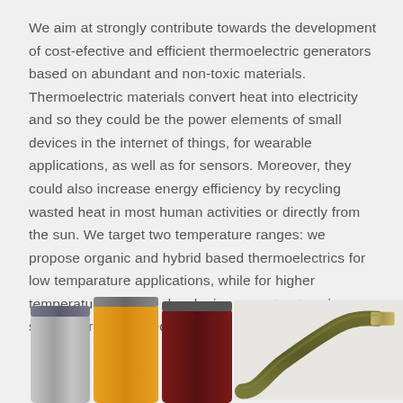We aim at strongly contribute towards the development of cost-efective and efficient thermoelectric generators based on abundant and non-toxic materials. Thermoelectric materials convert heat into electricity and so they could be the power elements of small devices in the internet of things, for wearable applications, as well as for sensors. Moreover, they could also increase energy efficiency by recycling wasted heat in most human activities or directly from the sun. We target two temperature ranges: we propose organic and hybrid based thermoelectrics for low temparature applications, while for higher temperatures we are developing nanostructured silicon/germanium technologies.
[Figure (photo): Left: Three cylindrical sample vials/containers — one gray/metallic, one orange, one dark red/maroon — shown from the side, partially cut off at bottom. Right: A flexible thermoelectric strip/ribbon bent in an S-curve shape, olive/dark green in color with a metallic connector, shown on a light background.]